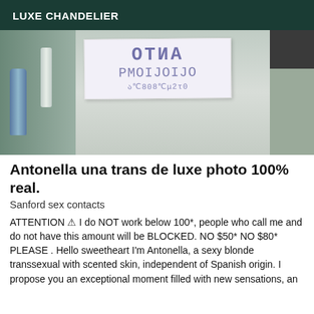LUXE CHANDELIER
[Figure (photo): Photo of a handwritten note on white paper placed near a bathroom sink and shelf. The note contains Georgian script text.]
Antonella una trans de luxe photo 100% real.
Sanford sex contacts
ATTENTION ⚠ I do NOT work below 100*, people who call me and do not have this amount will be BLOCKED. NO $50* NO $80* PLEASE . Hello sweetheart I'm Antonella, a sexy blonde transsexual with scented skin, independent of Spanish origin. I propose you an exceptional moment filled with new sensations, an